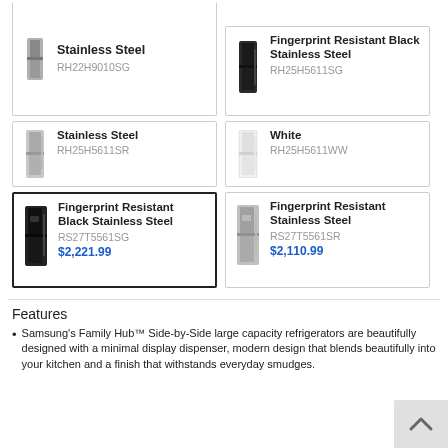[Figure (photo): Refrigerator product card - Stainless Steel, model RH22H9010SG]
[Figure (photo): Refrigerator product card - Fingerprint Resistant Black Stainless Steel, model RH25H5611SG]
[Figure (photo): Refrigerator product card - Stainless Steel, model RH25H5611SR]
[Figure (photo): Refrigerator product card - White, model RH25H5611WW]
[Figure (photo): Refrigerator product card - Fingerprint Resistant Black Stainless Steel, model RS27T5561SG, price $2,221.99 (selected)]
[Figure (photo): Refrigerator product card - Fingerprint Resistant Stainless Steel, model RS27T5561SR, price $2,110.99]
Features
Samsung's Family Hub™ Side-by-Side large capacity refrigerators are beautifully designed with a minimal display dispenser, modern design that blends beautifully into your kitchen and a finish that withstands everyday smudges.